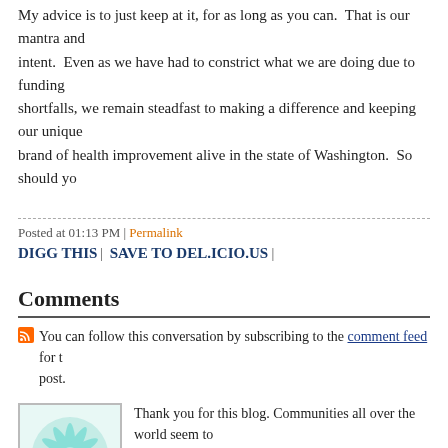My advice is to just keep at it, for as long as you can. That is our mantra and intent. Even as we have had to constrict what we are doing due to funding shortfalls, we remain steadfast to making a difference and keeping our unique brand of health improvement alive in the state of Washington. So should yo
Posted at 01:13 PM | Permalink
DIGG THIS | SAVE TO DEL.ICIO.US |
Comments
You can follow this conversation by subscribing to the comment feed for this post.
[Figure (illustration): Square avatar image with teal/green leafy or snowflake-like pattern on white background, bordered]
Thank you for this blog. Communities all over the world seem to be forgetting the importance of health. All institutions in our community can contribute to this cause, this blog can raise awareness to these institutions.
Posted by: Bookkeepers Brisbane | October 08, 2012 at 02:33 AM
The comments to this entry are closed.